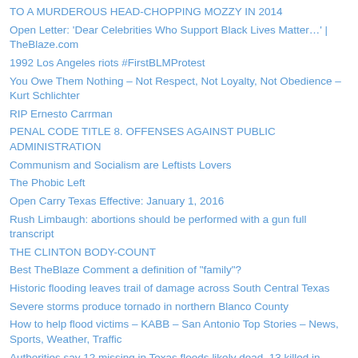TO A MURDEROUS HEAD-CHOPPING MOZZY IN 2014
Open Letter: 'Dear Celebrities Who Support Black Lives Matter…' | TheBlaze.com
1992 Los Angeles riots #FirstBLMProtest
You Owe Them Nothing – Not Respect, Not Loyalty, Not Obedience – Kurt Schlichter
RIP Ernesto Carrman
PENAL CODE TITLE 8. OFFENSES AGAINST PUBLIC ADMINISTRATION
Communism and Socialism are Leftists Lovers
The Phobic Left
Open Carry Texas Effective: January 1, 2016
Rush Limbaugh: abortions should be performed with a gun full transcript
THE CLINTON BODY-COUNT
Best TheBlaze Comment a definition of "family"?
Historic flooding leaves trail of damage across South Central Texas
Severe storms produce tornado in northern Blanco County
How to help flood victims – KABB – San Antonio Top Stories – News, Sports, Weather, Traffic
Authorities say 12 missing in Texas floods likely dead, 13 killed in Mexico tornado | Fox News
Alert: We May Not Win a War Against Islam
City bans handheld cell phone use while driving – KABB – San Antonio Top Stories – News, Sports, Weather, Traffic